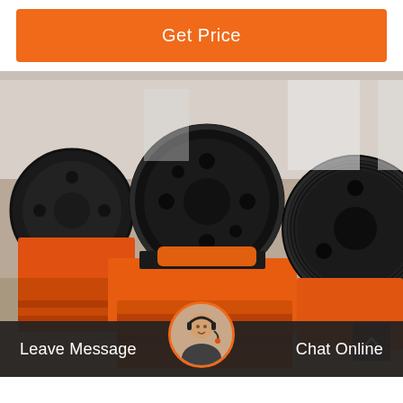Get Price
[Figure (photo): Multiple orange and black jaw crusher machines lined up in a factory warehouse. The machines feature large black flywheels and orange metal frames with crushers.]
Leave Message
Chat Online